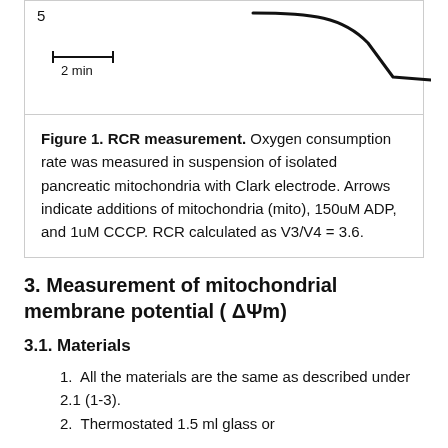[Figure (continuous-plot): Partial oxygen trace showing a downward curve near top of page with a scale bar labeled '2 min' and a y-axis label '5' at top left.]
Figure 1. RCR measurement. Oxygen consumption rate was measured in suspension of isolated pancreatic mitochondria with Clark electrode. Arrows indicate additions of mitochondria (mito), 150uM ADP, and 1uM CCCP. RCR calculated as V3/V4 = 3.6.
3. Measurement of mitochondrial membrane potential ( ΔΨm)
3.1. Materials
All the materials are the same as described under 2.1 (1-3).
Thermostated 1.5 ml glass or